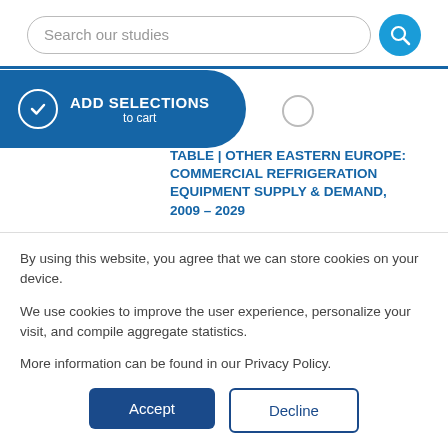Search our studies
TABLE | OTHER EASTERN EUROPE: COMMERCIAL REFRIGERATION EQUIPMENT SUPPLY & DEMAND, 2009 – 2029
By using this website, you agree that we can store cookies on your device.
We use cookies to improve the user experience, personalize your visit, and compile aggregate statistics.
More information can be found in our Privacy Policy.
Accept
Decline